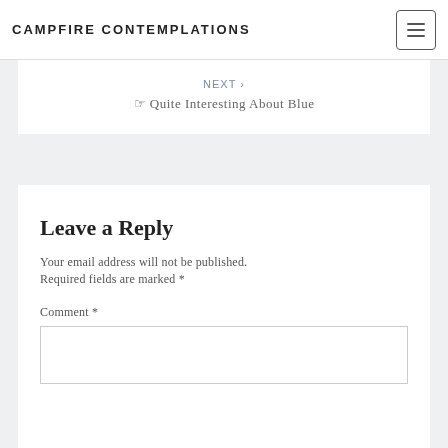CAMPFIRE CONTEMPLATIONS
NEXT ›
☞ Quite Interesting About Blue
Leave a Reply
Your email address will not be published.
Required fields are marked *
Comment *